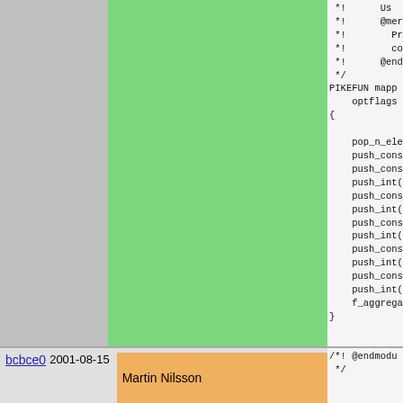| Hash | Date | Author |
| --- | --- | --- |
| 728ff4 | 2006-03-29 | Henrik Grubbström (Grubba) |
| 580981 | 2006-03-25 | Henrik Grubbström (Grubba) |
| bcbce0 | 2001-08-15 | Martin Nilsson |
* !		Us
 * !		@mem
 * !			Pr
 * !			co
 * !	@endma
 */
PIKEFUN mapp
	optflags (
{

	pop_n_elem
	push_cons
	push_cons
	push_cons
	push_int(s
	push_cons
	push_int(P
	push_cons
	push_int(s
	push_cons
	push_int(s
	push_cons
	push_int(:
	f_aggregat
}
/*! @endmod
 */